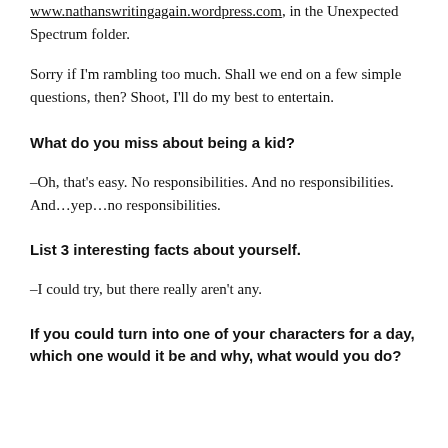www.nathanswritingagain.wordpress.com, in the Unexpected Spectrum folder.
Sorry if I'm rambling too much. Shall we end on a few simple questions, then? Shoot, I'll do my best to entertain.
What do you miss about being a kid?
–Oh, that's easy. No responsibilities. And no responsibilities. And…yep…no responsibilities.
List 3 interesting facts about yourself.
–I could try, but there really aren't any.
If you could turn into one of your characters for a day, which one would it be and why, what would you do?